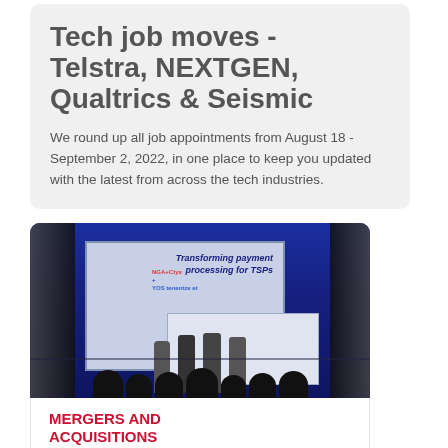Tech job moves - Telstra, NEXTGEN, Qualtrics & Seismic
We round up all job appointments from August 18 - September 2, 2022, in one place to keep you updated with the latest from across the tech industries.
[Figure (photo): Photo of a stage presentation with screen showing 'Transforming payment processing for TSPs' with logos, several presenters on stage, and audience silhouettes in foreground against blue lighting.]
MERGERS AND ACQUISITIONS
ConnectWise